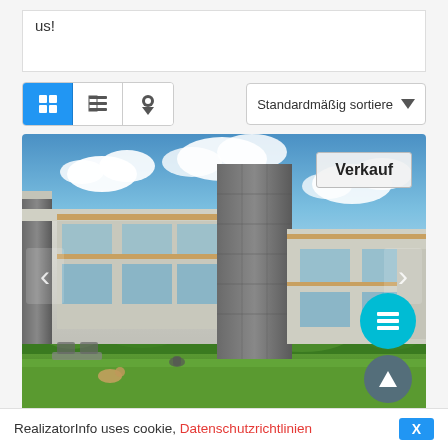us!
[Figure (screenshot): Toolbar with view toggle buttons (grid active, table, map pin) and sort dropdown labeled 'Standardmäßig sortiere']
[Figure (photo): Modern luxury villa with stone and concrete facade, blue sky with clouds, green lawn, navigation arrows, Verkauf badge, and action buttons]
RealizatorInfo uses cookie, Datenschutzrichtlinien X